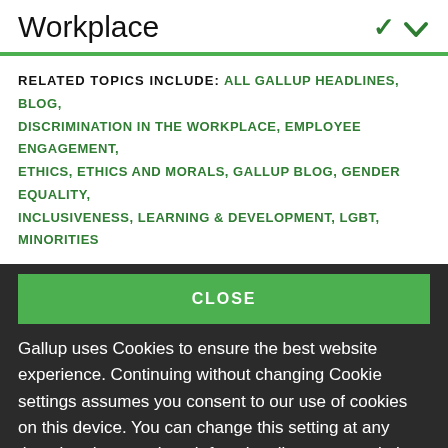Workplace
RELATED TOPICS INCLUDE: ALL GALLUP HEADLINES, BLOG, DISCRIMINATION IN THE WORKPLACE, EMPLOYEE ENGAGEMENT, ETHICS, ETHICS AND MORALS, GALLUP BLOG, GENDER EQUALITY, INCLUSIVENESS, LEARNING & DEVELOPMENT, LGBT, MINORITIES
CLOSE
Gallup uses Cookies to ensure the best website experience. Continuing without changing Cookie settings assumes you consent to our use of cookies on this device. You can change this setting at any time, but that may impair functionality on our websites.
Privacy Statement   Site Terms of Use and Sale
Product Terms of Use   Adjust your cookie settings.